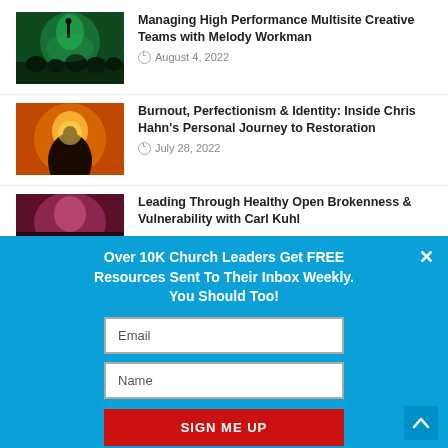[Figure (photo): Concert crowd with person raising hand under green lighting]
Managing High Performance Multisite Creative Teams with Melody Workman
August 4, 2022
[Figure (photo): Silhouette of person against orange sunset sky]
Burnout, Perfectionism & Identity: Inside Chris Hahn's Personal Journey to Restoration
July 28, 2022
[Figure (photo): Dark pink-toned image of person]
Leading Through Healthy Open Brokenness & Vulnerability with Carl Kuhl
Over 10K Church Leaders Get FREE Resources Sent To Their Inbox Weekly. You Should Too!
Email
Name
SIGN ME UP